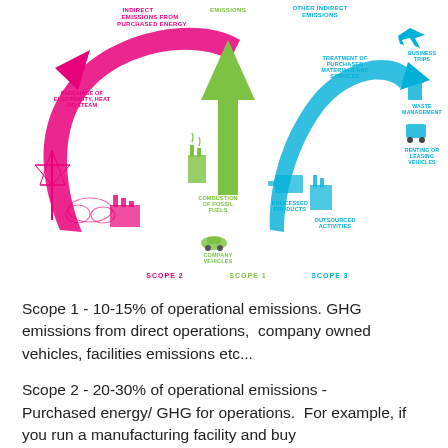[Figure (infographic): GHG emissions scope diagram showing Scope 1 (direct emissions - combustion of fossil fuels, company vehicles), Scope 2 (indirect emissions from purchased energy - purchase of electricity, heat or steam), and Scope 3 (other indirect emissions - treatment of purchased materials and services, processed products, outsourced activities, business trips, waste management, renting or leasing vehicles). Large arrows in pink (Scope 2), green (Scope 1), and blue (Scope 3) point upward with labels and icons.]
Scope 1 - 10-15% of operational emissions. GHG emissions from direct operations,  company owned vehicles, facilities emissions etc...
Scope 2 - 20-30% of operational emissions -
Purchased energy/ GHG for operations.  For example, if you run a manufacturing facility and buy